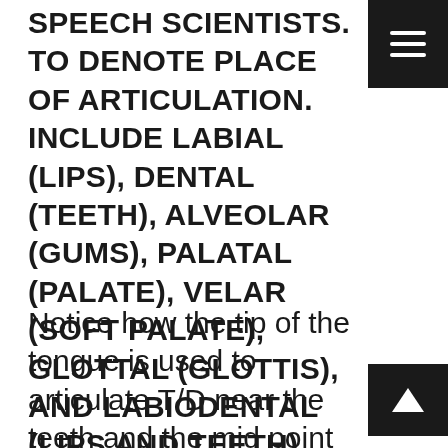SPEECH SCIENTISTS. TO DENOTE PLACE OF ARTICULATION. INCLUDE LABIAL (LIPS), DENTAL (TEETH), ALVEOLAR (GUMS), PALATAL (PALATE), VELAR (SOFT PALATE), GLOTTAL (GLOTTIS), AND LABIODENTAL (LIPS AND TEETH) FINALLY, CONSONANTS ARE CLASSIFIED. AS VOICED OR UNVOICED. PLACE OF ARTICULATION OF PLOSIVES.
Notice how the tip of the tongue is used to articulate T/D near the teeth and the mid point of the tongue articulates K/G on the roof of the mouth, or palate.